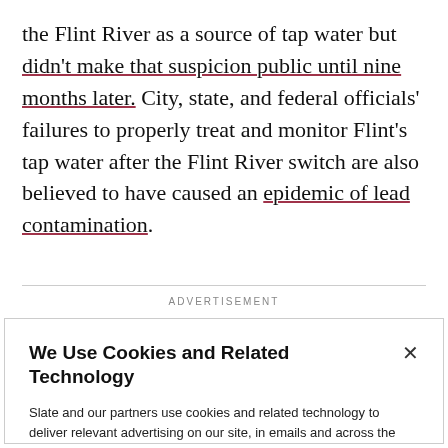the Flint River as a source of tap water but didn't make that suspicion public until nine months later. City, state, and federal officials' failures to properly treat and monitor Flint's tap water after the Flint River switch are also believed to have caused an epidemic of lead contamination.
ADVERTISEMENT
We Use Cookies and Related Technology
Slate and our partners use cookies and related technology to deliver relevant advertising on our site, in emails and across the Internet. We and our partners also use these technologies to personalize content and perform site analytics. For more information, see our terms and privacy policy. Privacy Policy
OK